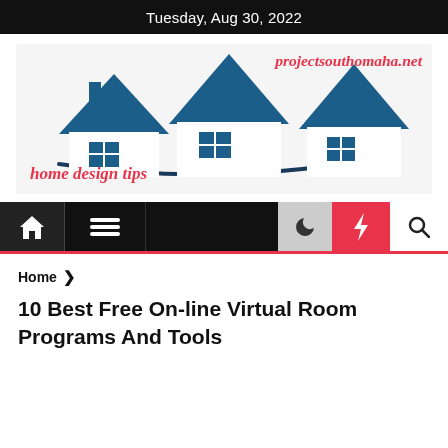Tuesday, Aug 30, 2022
[Figure (logo): projectsouthomaha.net home design tips logo with three blue house silhouettes and a swoosh]
[Figure (screenshot): Navigation bar with home icon, hamburger menu, moon/dark mode icon, lightning bolt (red background), and search icon]
Home  >
10 Best Free On-line Virtual Room Programs And Tools